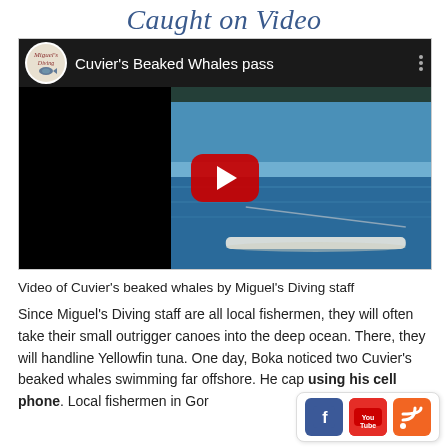Caught on Video
[Figure (screenshot): YouTube video thumbnail showing 'Cuvier's Beaked Whales pass' with Miguel's Diving channel logo, ocean background, and red play button overlay]
Video of Cuvier’s beaked whales by Miguel’s Diving staff
Since Miguel’s Diving staff are all local fishermen, they will often take their small outrigger canoes into the deep ocean. There, they will handline Yellowfin tuna. One day, Boka noticed two Cuvier’s beaked whales swimming far offshore. He cap using his cell phone. Local fishermen in Gor